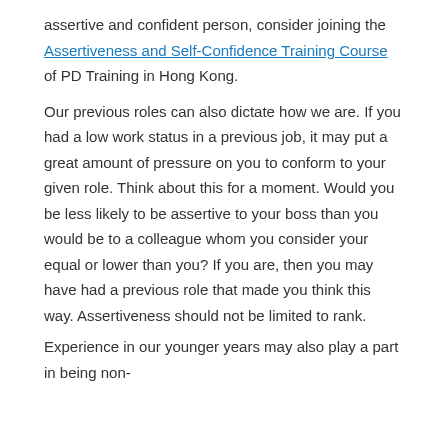assertive and confident person, consider joining the Assertiveness and Self-Confidence Training Course of PD Training in Hong Kong.
Our previous roles can also dictate how we are. If you had a low work status in a previous job, it may put a great amount of pressure on you to conform to your given role. Think about this for a moment. Would you be less likely to be assertive to your boss than you would be to a colleague whom you consider your equal or lower than you? If you are, then you may have had a previous role that made you think this way. Assertiveness should not be limited to rank.
Experience in our younger years may also play a part in being non-